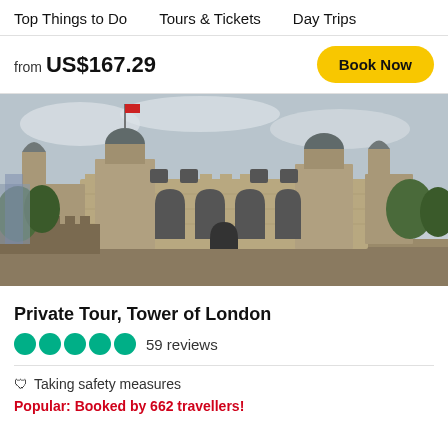Top Things to Do   Tours & Tickets   Day Trips
from US$167.29
Book Now
[Figure (photo): Photograph of the Tower of London, showing the White Tower with its four turrets and medieval stone walls, under an overcast sky with trees on the sides.]
Private Tour, Tower of London
59 reviews
Taking safety measures
Popular: Booked by 662 travellers!